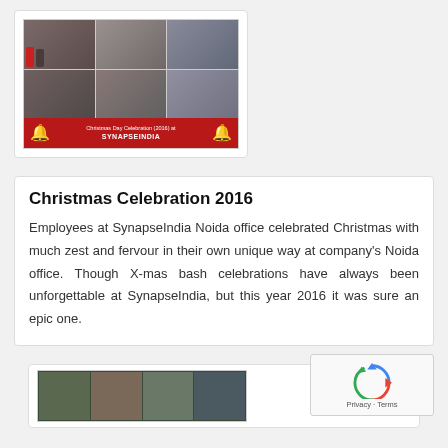[Figure (photo): Collage of Christmas celebration photos at SynapseIndia Noida office. Multiple photos showing employees with Santa Claus. Red banner at bottom reads 'Christmas Day Celebration (2016) at SYNAPSEINDIA' with golden bells.]
Christmas Celebration 2016
Employees at SynapseIndia Noida office celebrated Christmas with much zest and fervour in their own unique way at company's Noida office. Though X-mas bash celebrations have always been unforgettable at SynapseIndia, but this year 2016 it was sure an epic one.
[Figure (photo): Partial view of another photo showing employees at SynapseIndia, bottom of page.]